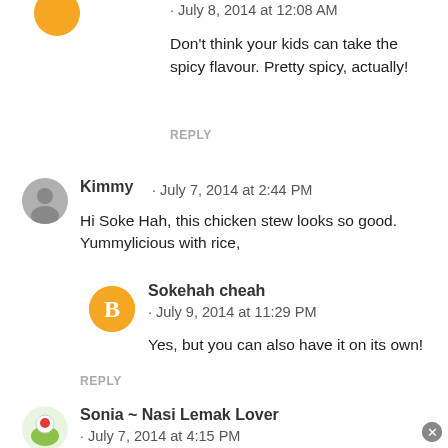· July 8, 2014 at 12:08 AM
Don't think your kids can take the spicy flavour. Pretty spicy, actually!
REPLY
Kimmy · July 7, 2014 at 2:44 PM
Hi Soke Hah, this chicken stew looks so good. Yummylicious with rice,
Sokehah cheah · July 9, 2014 at 11:29 PM
Yes, but you can also have it on its own!
REPLY
Sonia ~ Nasi Lemak Lover · July 7, 2014 at 4:15 PM